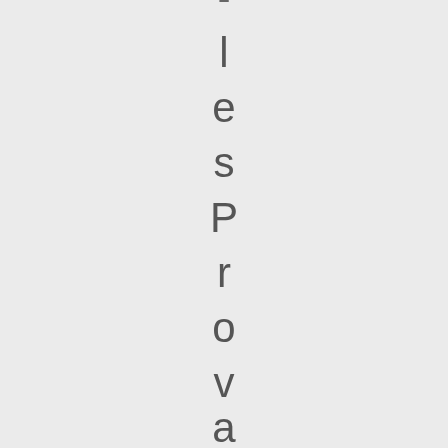- l e s P r o v a n ? A g a i n -